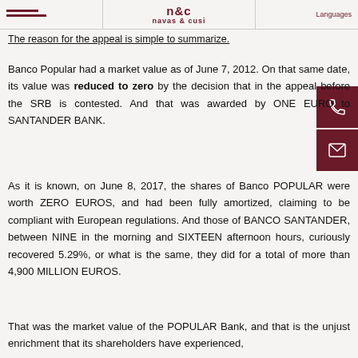navas & cusi
The reason for the appeal is simple to summarize.
Banco Popular had a market value as of June 7, 2012. On that same date, its value was reduced to zero by the decision that in the appeal before the SRB is contested. And that was awarded by ONE EURO to SANTANDER BANK.
As it is known, on June 8, 2017, the shares of Banco POPULAR were worth ZERO EUROS, and had been fully amortized, claiming to be compliant with European regulations. And those of BANCO SANTANDER, between NINE in the morning and SIXTEEN afternoon hours, curiously recovered 5.29%, or what is the same, they did for a total of more than 4,900 MILLION EUROS.
That was the market value of the POPULAR Bank, and that is the unjust enrichment that its shareholders have experienced,